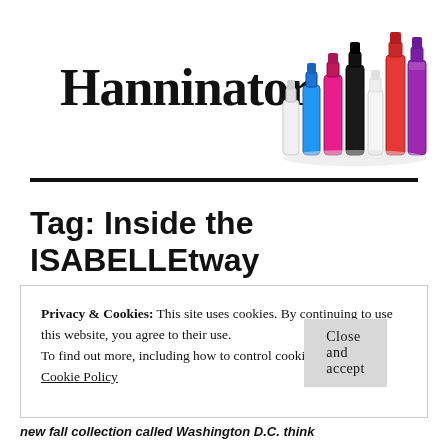Hanninator
[Figure (illustration): Several nail polish bottles in various colors (white, blue, pink, black, red, purple) arranged together]
Tag: Inside the ISABELLEtway
Privacy & Cookies: This site uses cookies. By continuing to use this website, you agree to their use.
To find out more, including how to control cookies, see here: Cookie Policy
Close and accept
new fall collection called Washington D.C. think